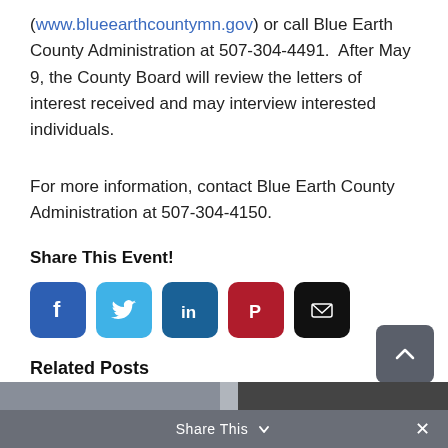(www.blueearthcountymn.gov) or call Blue Earth County Administration at 507-304-4491.  After May 9, the County Board will review the letters of interest received and may interview interested individuals.
For more information, contact Blue Earth County Administration at 507-304-4150.
Share This Event!
[Figure (infographic): Social share buttons: Facebook (blue), Twitter (light blue), LinkedIn (dark blue), Pinterest (red), Email (black)]
Related Posts
Share This ∨  ×